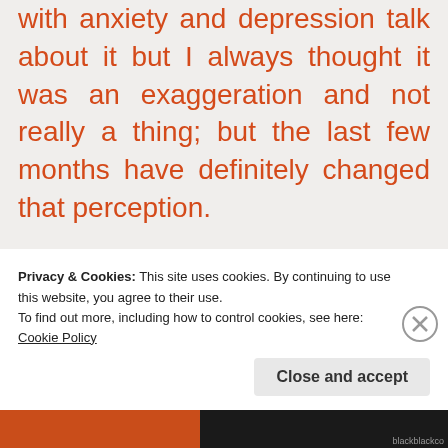with anxiety and depression talk about it but I always thought it was an exaggeration and not really a thing; but the last few months have definitely changed that perception.
The funny thing of course is that it all somehow gets washed away come 6.45am on a Monday morning when I get out of bed and start the working week
Privacy & Cookies: This site uses cookies. By continuing to use this website, you agree to their use.
To find out more, including how to control cookies, see here:
Cookie Policy
Close and accept